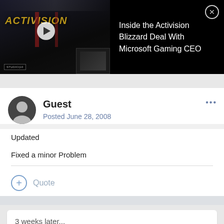[Figure (screenshot): Video thumbnail showing Activision logo and Bloomberg Studio branding, with overlay showing title 'Inside the Activision Blizzard Deal With Microsoft Gaming CEO' and a close button]
Guest
Posted June 28, 2008
Updated
Fixed a minor Problem
Quote
3 weeks later...